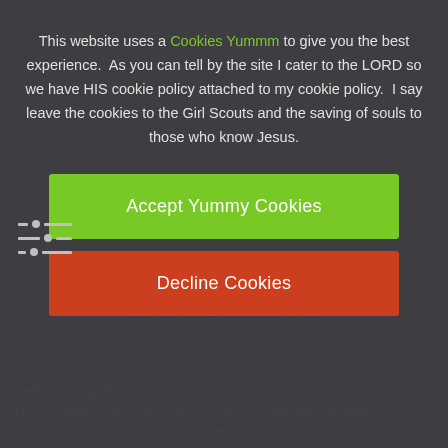[Figure (screenshot): Cookie consent modal overlay on a dark grey website background. Contains a text message about cookies, a green 'Accept Yummy Cookies' button, and a red 'Decline Cookies' button. A settings/filter icon appears on the left side. Background shows faded website content and a Jeremiah Bible verse.]
This website uses a Cookies Yummm to give you the best experience.  As you can tell by the site I cater to the LORD so we have HIS cookie policy attached to my cookie policy.  I say leave the cookies to the Girl Scouts and the saving of souls to those who know Jesus.
Accept Yummy Cookies
Decline Cookies
Jeremiah 4:19-20
(19) My bowels, my bowels! I am pained at my very heart; my heart maketh a noise in me, I cannot hold my peace because